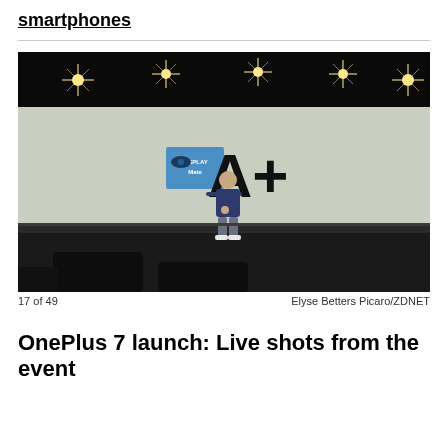smartphones
[Figure (photo): A presenter stands on a dark stage in front of a large curved screen displaying a DisplayMate A+ rating. Stage lighting creates starburst effects from multiple overhead lights.]
17 of 49    Elyse Betters Picaro/ZDNET
OnePlus 7 launch: Live shots from the event